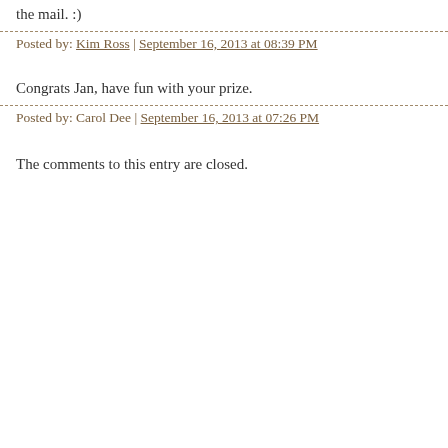the mail. :)
Posted by: Kim Ross | September 16, 2013 at 08:39 PM
Congrats Jan, have fun with your prize.
Posted by: Carol Dee | September 16, 2013 at 07:26 PM
The comments to this entry are closed.